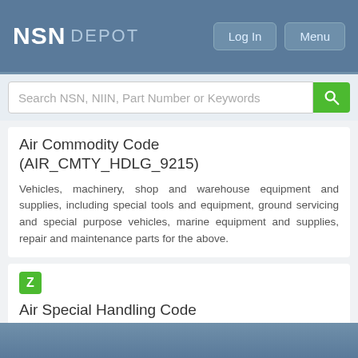NSN DEPOT
Search NSN, NIIN, Part Number or Keywords
Air Commodity Code (AIR_CMTY_HDLG_9215)
Vehicles, machinery, shop and warehouse equipment and supplies, including special tools and equipment, ground servicing and special purpose vehicles, marine equipment and supplies, repair and maintenance parts for the above.
Air Special Handling Code (AIR_CMTY_HDLG_9215)